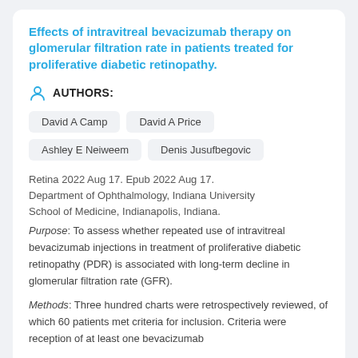Effects of intravitreal bevacizumab therapy on glomerular filtration rate in patients treated for proliferative diabetic retinopathy.
AUTHORS:
David A Camp
David A Price
Ashley E Neiweem
Denis Jusufbegovic
Retina 2022 Aug 17. Epub 2022 Aug 17. Department of Ophthalmology, Indiana University School of Medicine, Indianapolis, Indiana.
Purpose: To assess whether repeated use of intravitreal bevacizumab injections in treatment of proliferative diabetic retinopathy (PDR) is associated with long-term decline in glomerular filtration rate (GFR).
Methods: Three hundred charts were retrospectively reviewed, of which 60 patients met criteria for inclusion. Criteria were reception of at least one bevacizumab